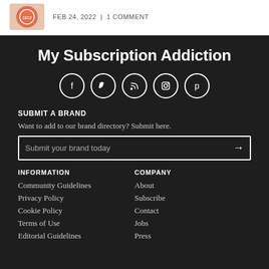FEB 24, 2022 | 1 COMMENT
My Subscription Addiction
[Figure (other): Social media icons: Facebook, Twitter, RSS, Instagram, Pinterest]
SUBMIT A BRAND
Want to add to our brand directory? Submit here.
Submit your brand today →
INFORMATION
Community Guidelines
Privacy Policy
Cookie Policy
Terms of Use
Editorial Guidelines
COMPANY
About
Subscribe
Contact
Jobs
Press